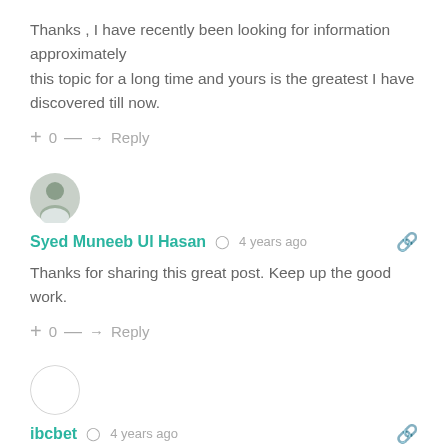Thanks , I have recently been looking for information approximately this topic for a long time and yours is the greatest I have discovered till now.
+ 0 — → Reply
[Figure (photo): Round avatar photo of Syed Muneeb Ul Hasan, a young man in a white shirt]
Syed Muneeb Ul Hasan  🕐 4 years ago
Thanks for sharing this great post. Keep up the good work.
+ 0 — → Reply
[Figure (photo): Round empty/blank avatar circle for ibcbet]
ibcbet  🕐 4 years ago
It's hard to find well-informed people on this subject, however, you sound like you know what you're talking